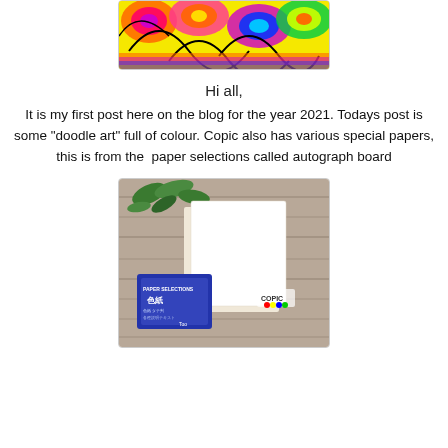[Figure (photo): Colorful doodle art with swirling abstract shapes in bright colors including yellow, orange, pink, purple, blue, green on white background]
Hi all,
It is my first post here on the blog for the year 2021. Todays post is some "doodle art" full of colour. Copic also has various special papers, this is from the  paper selections called autograph board
[Figure (photo): Photo of Copic Paper Selections autograph board packet and white square paper sheets on a wooden surface with green leaves in background]